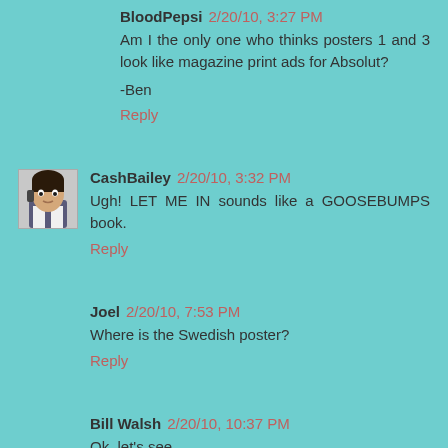BloodPepsi 2/20/10, 3:27 PM
Am I the only one who thinks posters 1 and 3 look like magazine print ads for Absolut?
-Ben
Reply
CashBailey 2/20/10, 3:32 PM
Ugh! LET ME IN sounds like a GOOSEBUMPS book.
Reply
Joel 2/20/10, 7:53 PM
Where is the Swedish poster?
Reply
Bill Walsh 2/20/10, 10:37 PM
Ok, let's see...